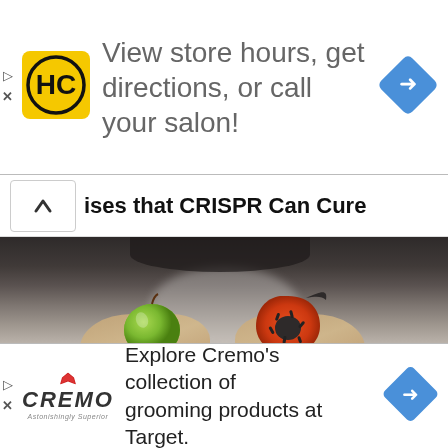[Figure (screenshot): Top advertisement banner with HC (Hair Club) logo, text reading 'View store hours, get directions, or call your salon!' and a blue navigation arrow diamond icon]
ises that CRISPR Can Cure
[Figure (photo): Photo of a woman holding a green apple in one hand and a partially eaten orange donut in the other hand, representing healthy vs unhealthy food choices]
[Figure (screenshot): Bottom advertisement banner with Cremo logo, text reading 'Explore Cremo’s collection of grooming products at Target.' and a blue navigation arrow diamond icon]